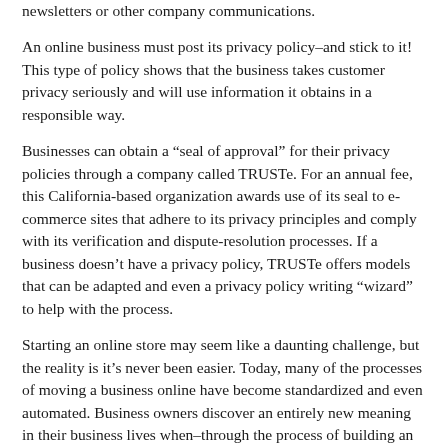newsletters or other company communications.
An online business must post its privacy policy–and stick to it! This type of policy shows that the business takes customer privacy seriously and will use information it obtains in a responsible way.
Businesses can obtain a “seal of approval” for their privacy policies through a company called TRUSTe. For an annual fee, this California-based organization awards use of its seal to e-commerce sites that adhere to its privacy principles and comply with its verification and dispute-resolution processes. If a business doesn’t have a privacy policy, TRUSTe offers models that can be adapted and even a privacy policy writing “wizard” to help with the process.
Starting an online store may seem like a daunting challenge, but the reality is it’s never been easier. Today, many of the processes of moving a business online have become standardized and even automated. Business owners discover an entirely new meaning in their business lives when–through the process of building an online store–they realize they’ve optimized their new-found markets and won the trust of internet consumers.
The Internet, in fact, can work for any entrepreneurial personality. If an entrepreneur thinks life is just a bowl of cherries, we’ll find him selling cherry bowls. Never have entrepreneurs had such a